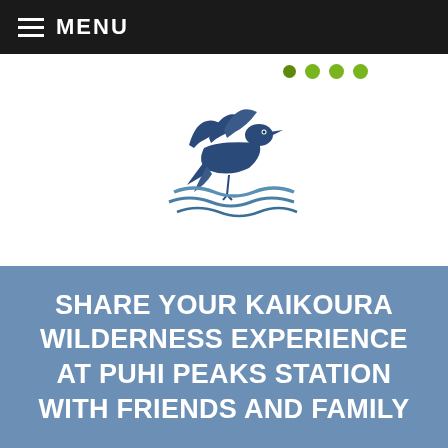MENU
[Figure (logo): Flying bird (heron/kotuku) logo with blue wave underneath, partial green dots logo visible top right]
SHARE YOUR KAIKOURA WILDERNESS EXPERIENCE AT PUHI PEAKS STATION WITH FRIENDS AND FAMILY